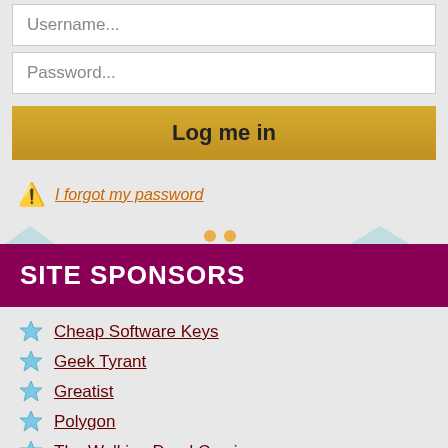Username...
Password...
Log me in
I forgot my password
SITE SPONSORS
Cheap Software Keys
Geek Tyrant
Greatist
Polygon
The Walking Dead Comic
buy ebooks pdf
ADVERTISE HERE
LOCAL BUSINESS LISTINGS